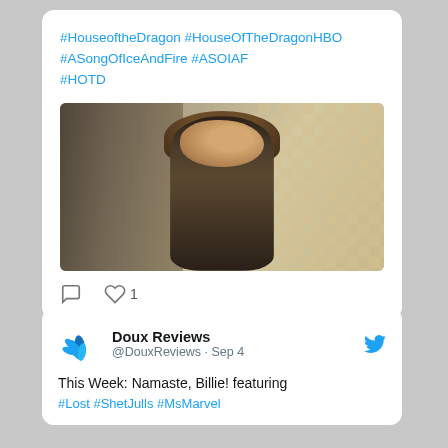#HouseoftheDragon #HouseOfTheDragonHBO #ASongOfIceAndFire #ASOIAF #HOTD
[Figure (photo): A young woman with dark braided hair in period costume looking over her shoulder, against an ornate stone lattice background]
♡ 1
Doux Reviews @DouxReviews · Sep 4
This Week: Namaste, Billie! featuring